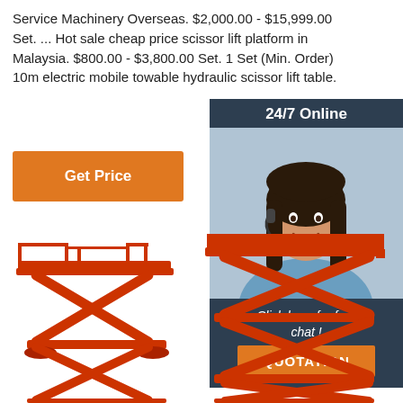Service Machinery Overseas. $2,000.00 - $15,999.00 Set. ... Hot sale cheap price scissor lift platform in Malaysia. $800.00 - $3,800.00 Set. 1 Set (Min. Order) 10m electric mobile towable hydraulic scissor lift table.
Get Price
24/7 Online
[Figure (photo): Customer service agent woman with headset smiling]
Click here for free chat !
QUOTATION
[Figure (illustration): Two red scissor lift platforms of different sizes shown side by side]